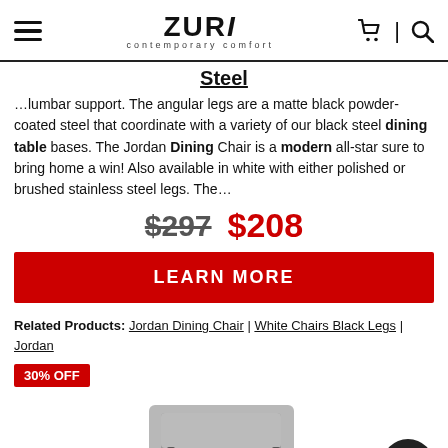Zuri contemporary comfort
Steel
…lumbar support. The angular legs are a matte black powder-coated steel that coordinate with a variety of our black steel dining table bases. The Jordan Dining Chair is a modern all-star sure to bring home a win! Also available in white with either polished or brushed stainless steel legs. The…
$297  $208
LEARN MORE
Related Products: Jordan Dining Chair | White Chairs Black Legs | Jordan
30% OFF
[Figure (photo): Photo of a modern dining chair with dark gray seat and black metal legs]